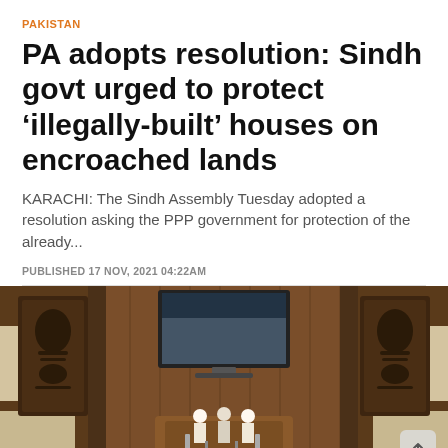PAKISTAN
PA adopts resolution: Sindh govt urged to protect 'illegally-built' houses on encroached lands
KARACHI: The Sindh Assembly Tuesday adopted a resolution asking the PPP government for protection of the already...
PUBLISHED 17 NOV, 2021 04:22AM
[Figure (photo): Interior of the Sindh Assembly hall showing the speaker's dais, Arabic calligraphy panels on the walls, a television screen showing legislative session, and ornate wooden paneling in warm brown tones.]